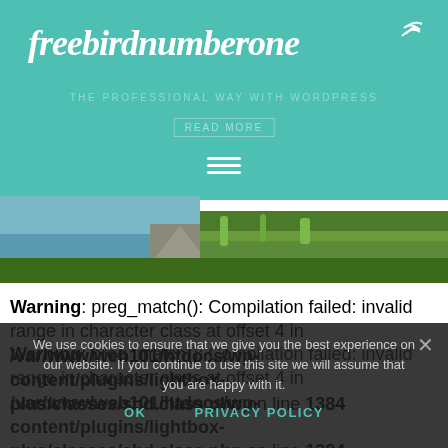freebirdnumberone
[Figure (screenshot): Website header with teal/turquoise background showing the freebirdnumberone logo in white cursive font, hamburger menu icon, and a scenic coastal photo strip below]
Warning: preg_match(): Compilation failed: invalid range in character class at offset 4 in /var/www/web101/htdocs/wp-content/plugins/lightbox-plus/classes/shd.class.php on line 1384
We use cookies to ensure that we give you the best experience on our website. If you continue to use this site we will assume that you are happy with it.
Warning: preg_match(): Compilation failed: invalid range in character class at offset 4 in /var/www/web101/htdocs/wp-content/plugins/lightbox-plus/classes/shd.class.php on line 1384